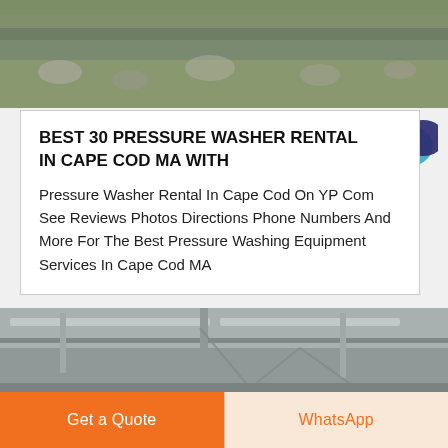[Figure (photo): Outdoor rocky/dirt terrain with grass in background, top of page]
BEST 30 PRESSURE WASHER RENTAL IN CAPE COD MA WITH
Pressure Washer Rental In Cape Cod On YP Com See Reviews Photos Directions Phone Numbers And More For The Best Pressure Washing Equipment Services In Cape Cod MA
[Figure (photo): Industrial/construction equipment photo, lower section]
Get a Quote
WhatsApp